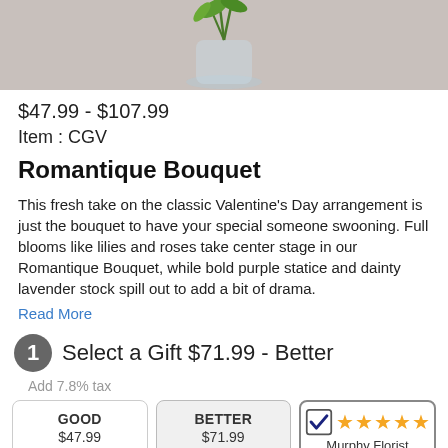[Figure (photo): Top portion of a product photo showing a glass vase with green plant stems/leaves against a gray background]
$47.99 - $107.99
Item : CGV
Romantique Bouquet
This fresh take on the classic Valentine's Day arrangement is just the bouquet to have your special someone swooning. Full blooms like lilies and roses take center stage in our Romantique Bouquet, while bold purple statice and dainty lavender stock spill out to add a bit of drama.
Read More
1 Select a Gift $71.99 - Better
Add 7.8% tax
| GOOD | BETTER | Rating |
| --- | --- | --- |
| $47.99 | $71.99 | Murphy Florist ★★★★★ |